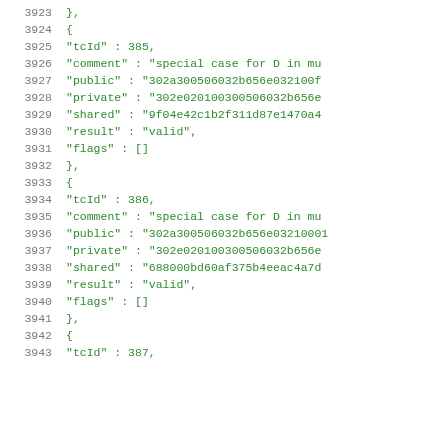3923    },
3924    {
3925        "tcId" : 385,
3926        "comment" : "special case for D in mu
3927        "public" : "302a300506032b656e032100f
3928        "private" : "302e0201003300506032b656e
3929        "shared" : "9f04e42c1b2f311d87e1470a4
3930        "result" : "valid",
3931        "flags" : []
3932    },
3933    {
3934        "tcId" : 386,
3935        "comment" : "special case for D in mu
3936        "public" : "302a300506032b656e03210001
3937        "private" : "302e020100300506032b656e
3938        "shared" : "688000bd60af375b4eeac4a7d
3939        "result" : "valid",
3940        "flags" : []
3941    },
3942    {
3943        "tcId" : 387,